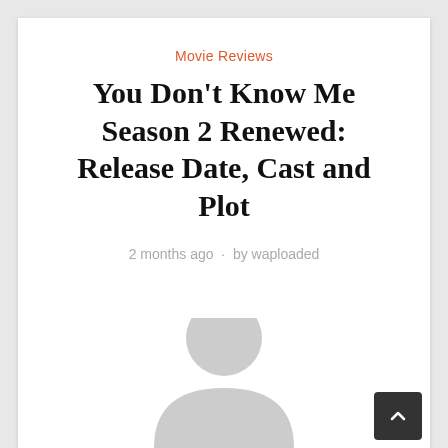Movie Reviews
You Don't Know Me Season 2 Renewed: Release Date, Cast and Plot
2 months ago · by waploaded
[Figure (illustration): Partial grey avatar/person silhouette icon at bottom of page, with a dark back-to-top arrow button in the bottom right corner]